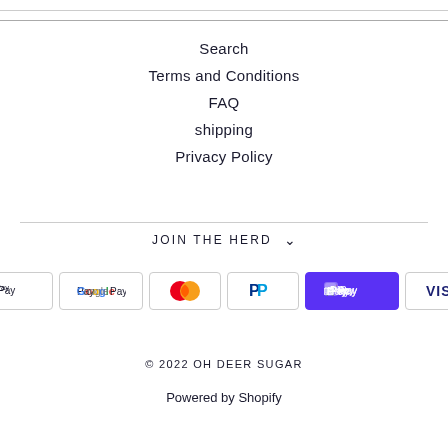Search
Terms and Conditions
FAQ
shipping
Privacy Policy
JOIN THE HERD
[Figure (logo): Payment method icons: Apple Pay, Google Pay, Mastercard, PayPal, Shop Pay, Visa]
© 2022 OH DEER SUGAR
Powered by Shopify